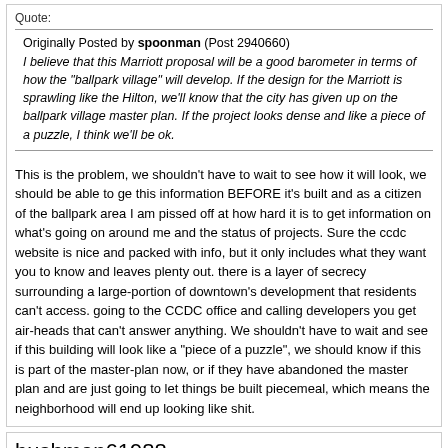Quote:
Originally Posted by spoonman (Post 2940660)
I believe that this Marriott proposal will be a good barometer in terms of how the "ballpark village" will develop. If the design for the Marriott is sprawling like the Hilton, we'll know that the city has given up on the ballpark village master plan. If the project looks dense and like a piece of a puzzle, I think we'll be ok.
This is the problem, we shouldn't have to wait to see how it will look, we should be able to ge this information BEFORE it's built and as a citizen of the ballpark area I am pissed off at how hard it is to get information on what's going on around me and the status of projects. Sure the ccdc website is nice and packed with info, but it only includes what they want you to know and leaves plenty out. there is a layer of secrecy surrounding a large-portion of downtown's development that residents can't access. going to the CCDC office and calling developers you get air-heads that can't answer anything. We shouldn't have to wait and see if this building will look like a "piece of a puzzle", we should know if this is part of the master-plan now, or if they have abandoned the master plan and are just going to let things be built piecemeal, which means the neighborhood will end up looking like shit.
bushman61988
Jul 9, 2007 6:39 AM